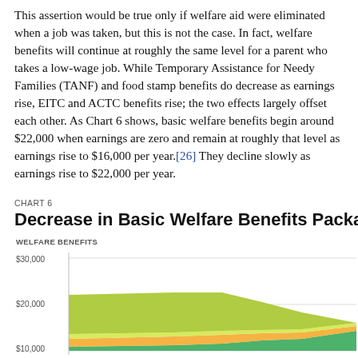This assertion would be true only if welfare aid were eliminated when a job was taken, but this is not the case. In fact, welfare benefits will continue at roughly the same level for a parent who takes a low-wage job. While Temporary Assistance for Needy Families (TANF) and food stamp benefits do decrease as earnings rise, EITC and ACTC benefits rise; the two effects largely offset each other. As Chart 6 shows, basic welfare benefits begin around $22,000 when earnings are zero and remain at roughly that level as earnings rise to $16,000 per year.[26] They decline slowly as earnings rise to $22,000 per year.
CHART 6
Decrease in Basic Welfare Benefits Package as E
[Figure (area-chart): Stacked area chart showing welfare benefits (y-axis $10,000 to $30,000) as earnings rise, with colored areas representing different benefit components (green dominant area at top, orange/yellow and blue/green areas at bottom). Benefits start around $22,000 and remain roughly flat then decline.]